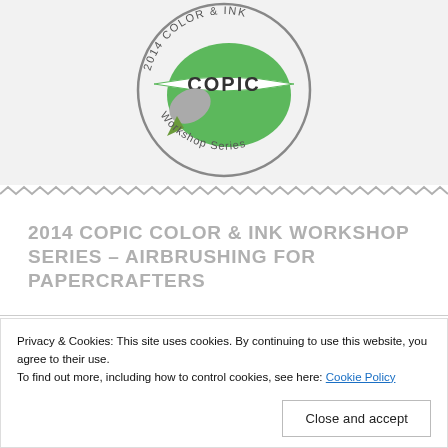[Figure (logo): 2014 Color & Ink Copic Workshop Series circular logo with green brush and banner]
2014 COPIC COLOR & INK WORKSHOP SERIES – AIRBRUSHING FOR PAPERCRAFTERS
Privacy & Cookies: This site uses cookies. By continuing to use this website, you agree to their use.
To find out more, including how to control cookies, see here: Cookie Policy
Close and accept